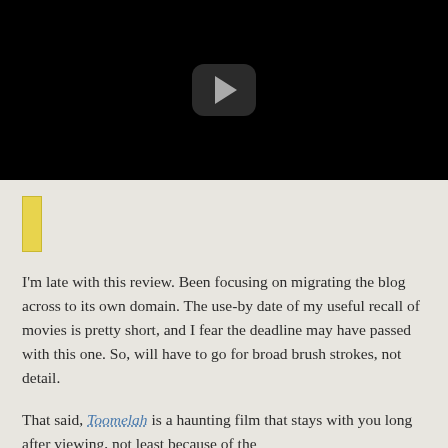[Figure (screenshot): Black video player with a rounded rectangle play button in the center containing a gray right-pointing triangle]
[Figure (other): Small yellow rectangular bar/bookmark icon]
I'm late with this review. Been focusing on migrating the blog across to its own domain. The use-by date of my useful recall of movies is pretty short, and I fear the deadline may have passed with this one. So, will have to go for broad brush strokes, not detail.
That said, Toomelah is a haunting film that stays with you long after viewing, not least because of the